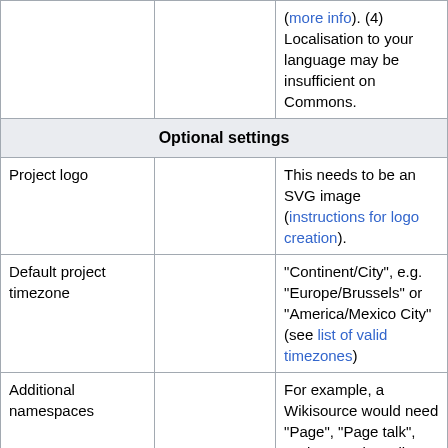|  |  |  |
| --- | --- | --- |
|  |  | (more info). (4) Localisation to your language may be insufficient on Commons. |
| Optional settings |  |  |
| Project logo |  | This needs to be an SVG image (instructions for logo creation). |
| Default project timezone |  | "Continent/City", e.g. "Europe/Brussels" or "America/Mexico City" (see list of valid timezones) |
| Additional namespaces |  | For example, a Wikisource would need "Page", "Page talk", "Index", "Index talk", "Author", "Author talk" |